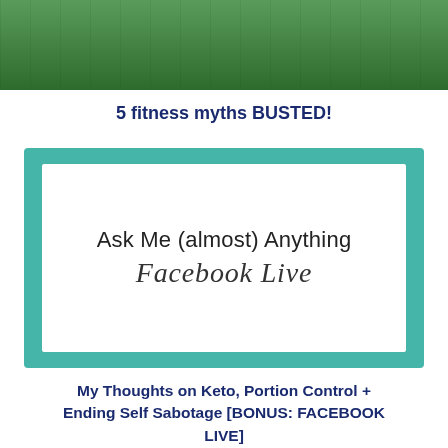[Figure (photo): Top portion of a fitness/sports image showing a green field or sports turf, partially cropped]
5 fitness myths BUSTED!
[Figure (illustration): A card with teal/turquoise border containing text 'Ask Me (almost) Anything' in sans-serif and 'Facebook Live' in cursive handwritten script]
My Thoughts on Keto, Portion Control + Ending Self Sabotage [BONUS: FACEBOOK LIVE]